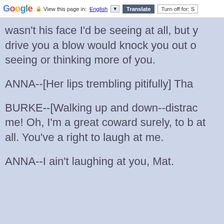Google — View this page in: English [▼] Translate | Turn off for: S
wasn't his face I'd be seeing at all, but y drive you a blow would knock you out o seeing or thinking more of you.
ANNA--[Her lips trembling pitifully] Tha
BURKE--[Walking up and down--distrac me! Oh, I'm a great coward surely, to b at all. You've a right to laugh at me.
ANNA--I ain't laughing at you, Mat.